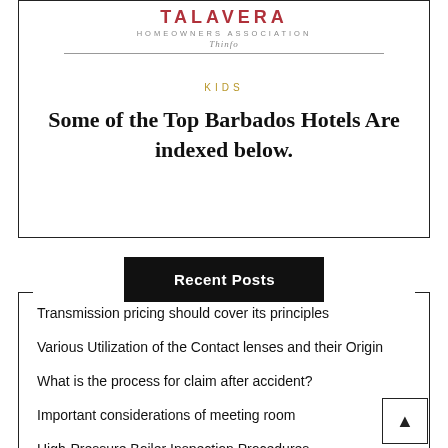TALAVERA HOMEOWNERS ASSOCIATION Thinfo
KIDS
Some of the Top Barbados Hotels Are indexed below.
Recent Posts
Transmission pricing should cover its principles
Various Utilization of the Contact lenses and their Origin
What is the process for claim after accident?
Important considerations of meeting room
High-Pressure Boiler Inspection Procedures